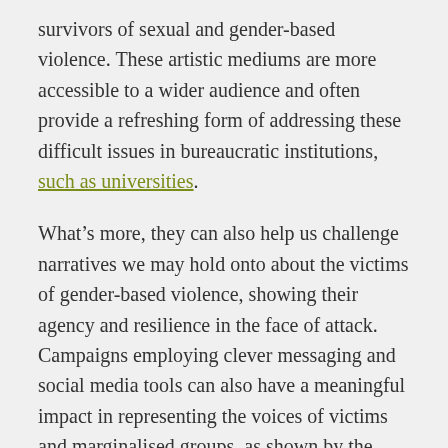survivors of sexual and gender-based violence. These artistic mediums are more accessible to a wider audience and often provide a refreshing form of addressing these difficult issues in bureaucratic institutions, such as universities.
What's more, they can also help us challenge narratives we may hold onto about the victims of gender-based violence, showing their agency and resilience in the face of attack. Campaigns employing clever messaging and social media tools can also have a meaningful impact in representing the voices of victims and marginalised groups, as shown by the powerful #erasethegrey campaign. or the #SayHerName report and videos advocating for the rights and